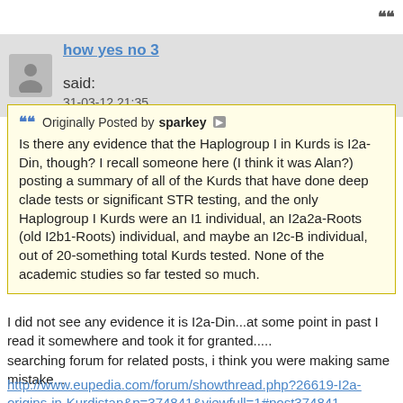how yes no 3 said:
31-03-12 21:35
Originally Posted by sparkey
Is there any evidence that the Haplogroup I in Kurds is I2a-Din, though? I recall someone here (I think it was Alan?) posting a summary of all of the Kurds that have done deep clade tests or significant STR testing, and the only Haplogroup I Kurds were an I1 individual, an I2a2a-Roots (old I2b1-Roots) individual, and maybe an I2c-B individual, out of 20-something total Kurds tested. None of the academic studies so far tested so much.
I did not see any evidence it is I2a-Din...at some point in past I read it somewhere and took it for granted.....
searching forum for related posts, i think you were making same mistake...
http://www.eupedia.com/forum/showthread.php?26619-I2a-origins-in-Kurdistan&p=374841&viewfull=1#post374841